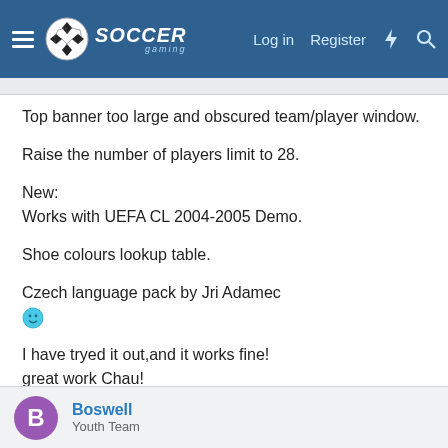Soccer Gaming — Log in Register
Top banner too large and obscured team/player window.
Raise the number of players limit to 28.
New:
Works with UEFA CL 2004-2005 Demo.
Shoe colours lookup table.
Czech language pack by Jri Adamec
:)
I have tryed it out,and it works fine!
great work Chau!
:)
Boswell
Youth Team